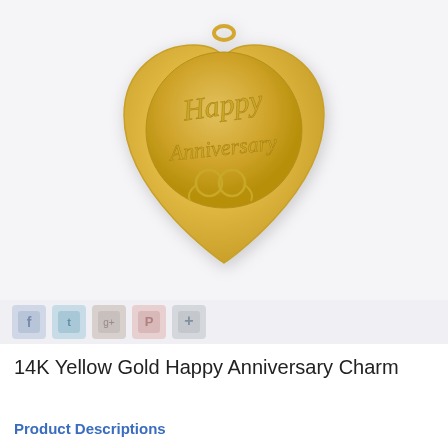[Figure (photo): 14K yellow gold heart-shaped Happy Anniversary charm pendant with engraved script text 'Happy Anniversary' and decorative scroll design on a circular center panel]
[Figure (infographic): Social media sharing icons bar: Facebook, Twitter, Google+, Pinterest, and a plus/share button]
14K Yellow Gold Happy Anniversary Charm
Product Descriptions